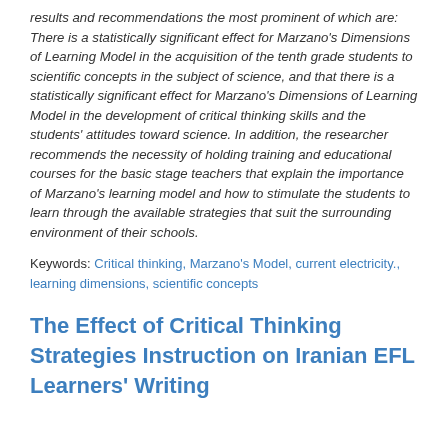results and recommendations the most prominent of which are: There is a statistically significant effect for Marzano's Dimensions of Learning Model in the acquisition of the tenth grade students to scientific concepts in the subject of science, and that there is a statistically significant effect for Marzano's Dimensions of Learning Model in the development of critical thinking skills and the students' attitudes toward science. In addition, the researcher recommends the necessity of holding training and educational courses for the basic stage teachers that explain the importance of Marzano's learning model and how to stimulate the students to learn through the available strategies that suit the surrounding environment of their schools.
Keywords: Critical thinking, Marzano's Model, current electricity., learning dimensions, scientific concepts
The Effect of Critical Thinking Strategies Instruction on Iranian EFL Learners' Writing